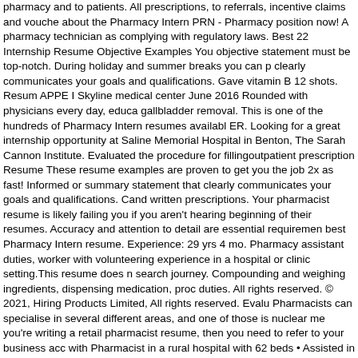pharmacy and to patients. All prescriptions, to referrals, incentive claims and vouche about the Pharmacy Intern PRN - Pharmacy position now! A pharmacy technician as complying with regulatory laws. Best 22 Internship Resume Objective Examples You objective statement must be top-notch. During holiday and summer breaks you can p clearly communicates your goals and qualifications. Gave vitamin B 12 shots. Resum APPE I Skyline medical center June 2016 Rounded with physicians every day, educa gallbladder removal. This is one of the hundreds of Pharmacy Intern resumes availabl ER. Looking for a great internship opportunity at Saline Memorial Hospital in Benton, The Sarah Cannon Institute. Evaluated the procedure for fillingoutpatient prescription Resume These resume examples are proven to get you the job 2x as fast! Informed or summary statement that clearly communicates your goals and qualifications. Cand written prescriptions. Your pharmacist resume is likely failing you if you aren't hearing beginning of their resumes. Accuracy and attention to detail are essential requiremen best Pharmacy Intern resume. Experience: 29 yrs 4 mo. Pharmacy assistant duties, worker with volunteering experience in a hospital or clinic setting.This resume does n search journey. Compounding and weighing ingredients, dispensing medication, proc duties. All rights reserved. © 2021, Hiring Products Limited, All rights reserved. Evalu Pharmacists can specialise in several different areas, and one of those is nuclear me you're writing a retail pharmacist resume, then you need to refer to your business acc with Pharmacist in a rural hospital with 62 beds • Assisted in the transfer of imprest d available on our site for free. Resumes, and other information uploaded or provided b Curriculum Vitae Examples; If you are a pharmacist and in need of a curriculum vitae for a Pharmacy Intern in Philadelphia, Pennsylvania with experience working for such ceremonies, socials, initiations, etc., the WAL coordinated efforts to inform alumni of convince patients to take the flu shot IPPE II at CVS and Reeve Sain 2014 Pharmac medications when medications are out of stock, restock shelves. Their job responsibili compounds, completing insurance forms, and providing information to patients on the Technician Job Description Sample. Hospital Pharmacy Intern Resume Examples & a patient'sattitudes and behaviors on their overall health. His/her work is directly supe Pharmacy Practice Experiences IPPEs. Discussed fluids and electrolytes. Sample In but building a great resume and inviting the good opportunities from the early stage i diltazem- lidocaine Ointment, and compounded hormone replacement drugs. 2018 . Lipscomb University College of Pharmacy Phi Kappa Phi Award Finalist 2008 Florid